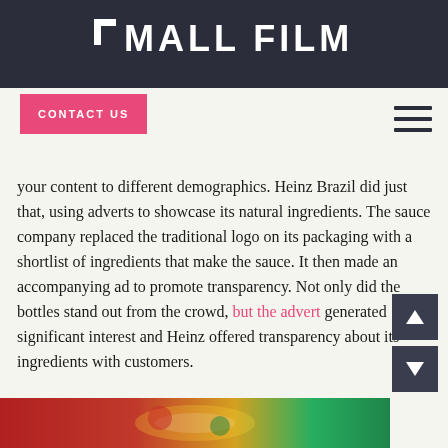SMALL FILMS
CONTACT US
your content to different demographics. Heinz Brazil did just that, using adverts to showcase its natural ingredients. The sauce company replaced the traditional logo on its packaging with a shortlist of ingredients that make the sauce. It then made an accompanying ad to promote transparency. Not only did the bottles stand out from the crowd, but the advert generated significant interest and Heinz offered transparency about its ingredients with customers.
[Figure (photo): Bottom portion of a Heinz Brazil product bottle showing natural colorful branding]